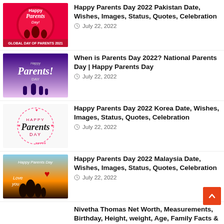[Figure (photo): Happy Parents Day 2022 Pakistan thumbnail - red circular graphic with silhouettes]
Happy Parents Day 2022 Pakistan Date, Wishes, Images, Status, Quotes, Celebration
July 22, 2022
[Figure (photo): When is Parents Day 2022 thumbnail - purple/blue graphic with Parents! text]
When is Parents Day 2022? National Parents Day | Happy Parents Day
July 22, 2022
[Figure (photo): Happy Parents Day 2022 Korea thumbnail - white graphic with hearts circle]
Happy Parents Day 2022 Korea Date, Wishes, Images, Status, Quotes, Celebration
July 22, 2022
[Figure (photo): Happy Parents Day 2022 Malaysia thumbnail - sunset silhouette family]
Happy Parents Day 2022 Malaysia Date, Wishes, Images, Status, Quotes, Celebration
July 22, 2022
Nivetha Thomas Net Worth, Measurements, Birthday, Height, weight, Age, Family Facts & Life Story
July 22, 2022